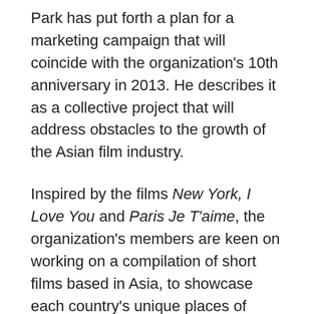Park has put forth a plan for a marketing campaign that will coincide with the organization's 10th anniversary in 2013. He describes it as a collective project that will address obstacles to the growth of the Asian film industry.
Inspired by the films New York, I Love You and Paris Je T'aime, the organization's members are keen on working on a compilation of short films based in Asia, to showcase each country's unique places of interest.
Park also announced that “co-production” will be the main topic of discussion at the next Asia Film Policy Forum, which will be held during the Pusan Film Festival on October 10 and 11.